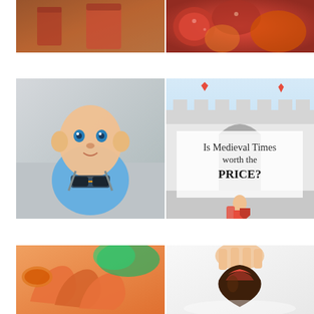[Figure (photo): Close-up of drinks - a pinkish/red beverage in glasses, warm toned, restaurant setting]
[Figure (photo): Close-up overhead shot of sliced tomatoes, potatoes and colorful vegetables with sauce]
[Figure (photo): Baby boy lying on blanket wearing blue outfit with sunglasses hanging from collar]
[Figure (photo): Medieval Times castle exterior with text overlay: Is Medieval Times worth the PRICE? Child holding shield in front of castle entrance]
[Figure (photo): Close-up of grilled shrimp with dipping sauce and lettuce garnish on a plate]
[Figure (photo): Hand holding chocolate-covered strawberry on white background]